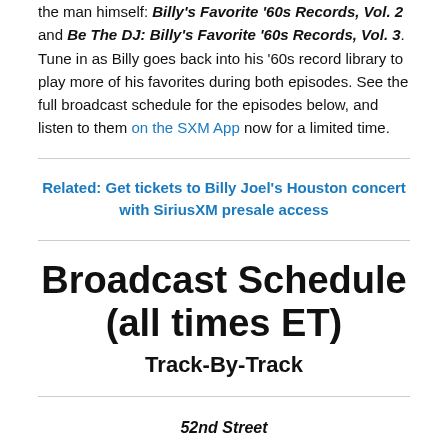the man himself: Billy's Favorite '60s Records, Vol. 2 and Be The DJ: Billy's Favorite '60s Records, Vol. 3. Tune in as Billy goes back into his '60s record library to play more of his favorites during both episodes. See the full broadcast schedule for the episodes below, and listen to them on the SXM App now for a limited time.
Related: Get tickets to Billy Joel's Houston concert with SiriusXM presale access
Broadcast Schedule (all times ET)
Track-By-Track
52nd Street
January 22 at 1pm